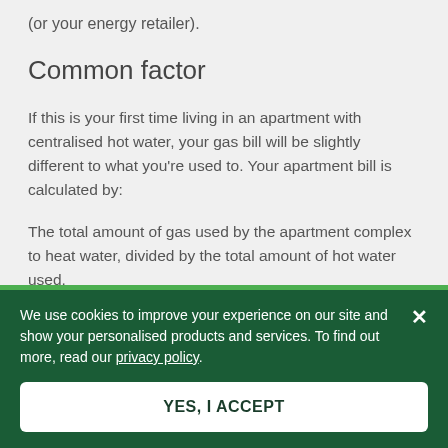(or your energy retailer).
Common factor
If this is your first time living in an apartment with centralised hot water, your gas bill will be slightly different to what you're used to. Your apartment bill is calculated by:
The total amount of gas used by the apartment complex to heat water, divided by the total amount of hot water used.
This handy calculation determines the amount of gas (in
We use cookies to improve your experience on our site and show your personalised products and services. To find out more, read our privacy policy.
YES, I ACCEPT